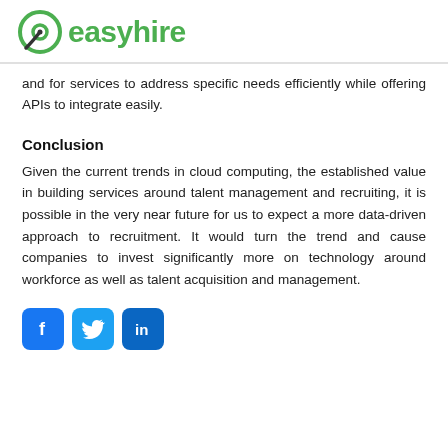easyhire
and for services to address specific needs efficiently while offering APIs to integrate easily.
Conclusion
Given the current trends in cloud computing, the established value in building services around talent management and recruiting, it is possible in the very near future for us to expect a more data-driven approach to recruitment. It would turn the trend and cause companies to invest significantly more on technology around workforce as well as talent acquisition and management.
[Figure (logo): Social media icons: Facebook, Twitter, LinkedIn]